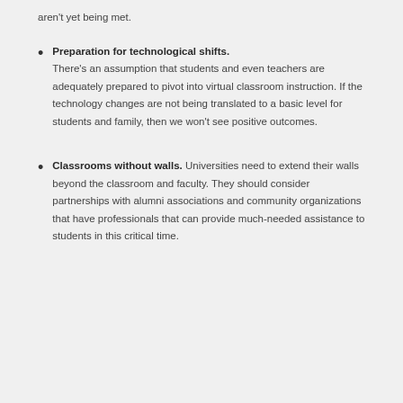aren't yet being met.
Preparation for technological shifts. There's an assumption that students and even teachers are adequately prepared to pivot into virtual classroom instruction. If the technology changes are not being translated to a basic level for students and family, then we won't see positive outcomes.
Classrooms without walls. Universities need to extend their walls beyond the classroom and faculty. They should consider partnerships with alumni associations and community organizations that have professionals that can provide much-needed assistance to students in this critical time.